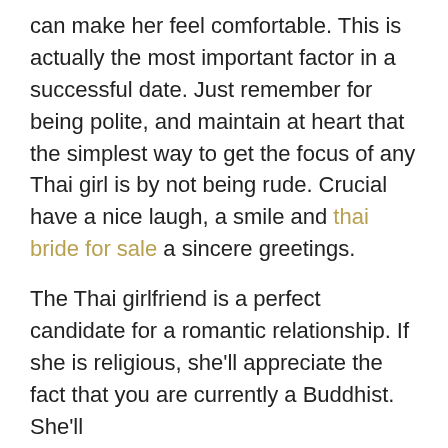can make her feel comfortable. This is actually the most important factor in a successful date. Just remember for being polite, and maintain at heart that the simplest way to get the focus of any Thai girl is by not being rude. Crucial have a nice laugh, a smile and thai bride for sale a sincere greetings.
The Thai girlfriend is a perfect candidate for a romantic relationship. If she is religious, she'll appreciate the fact that you are currently a Buddhist. She'll https://hr.nsa.org.na/wp/2020/05/27/essential-aspects-in-asian-mail-order-bride-an-analysis/ appreciate the kindness and dignity. While you will have to keep an in depth eye on her behalf personal space, you have to be sure to get comfortable with the folks you meet. For anybody who is in love with her, you'll probably be described as a good meet.